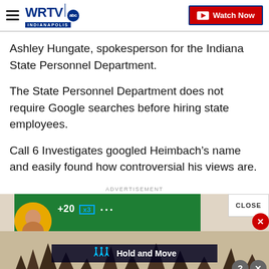WRTV INDIANAPOLIS — Watch Now
Ashley Hungate, spokesperson for the Indiana State Personnel Department.
The State Personnel Department does not require Google searches before hiring state employees.
Call 6 Investigates googled Heimbach's name and easily found how controversial his views are.
ADVERTISEMENT
[Figure (screenshot): Advertisement banner with green background, a person's face in a circular yellow frame, overlaid game UI elements reading 'Hold and Move', close button, and outdoor scenery in background]